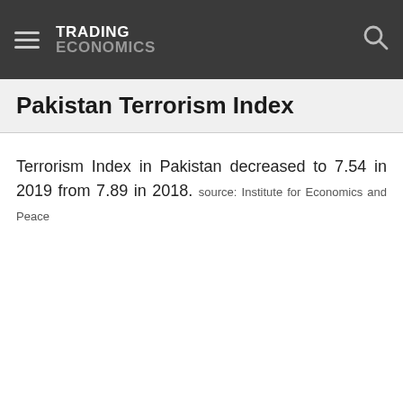TRADING ECONOMICS
Pakistan Terrorism Index
Terrorism Index in Pakistan decreased to 7.54 in 2019 from 7.89 in 2018. source: Institute for Economics and Peace